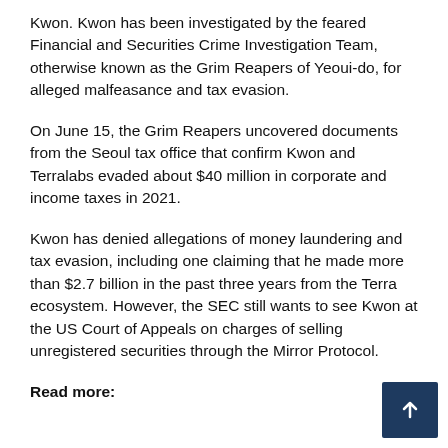Kwon. Kwon has been investigated by the feared Financial and Securities Crime Investigation Team, otherwise known as the Grim Reapers of Yeoui-do, for alleged malfeasance and tax evasion.
On June 15, the Grim Reapers uncovered documents from the Seoul tax office that confirm Kwon and Terralabs evaded about $40 million in corporate and income taxes in 2021.
Kwon has denied allegations of money laundering and tax evasion, including one claiming that he made more than $2.7 billion in the past three years from the Terra ecosystem. However, the SEC still wants to see Kwon at the US Court of Appeals on charges of selling unregistered securities through the Mirror Protocol.
Read more: